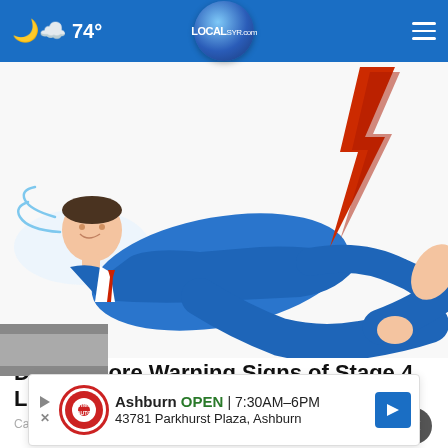74° LOCAL SYR.com
[Figure (illustration): Illustration of a person in a blue suit lying on their back in distress, with a red lightning bolt near their leg suggesting pain, on a white background.]
Don't Ignore Warning Signs of Stage 4 Lung Cancer
Cancer | Sponsored Links
[Figure (photo): Partial photo visible at bottom left corner of page, partially obscured by ad banner.]
[Figure (infographic): Advertisement banner: Ashburn OPEN 7:30AM-6PM, 43781 Parkhurst Plaza, Ashburn. Tire Auto logo on left, directional arrow icon on right.]